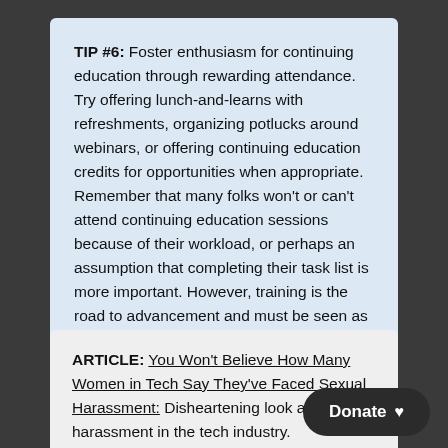TIP #6: Foster enthusiasm for continuing education through rewarding attendance. Try offering lunch-and-learns with refreshments, organizing potlucks around webinars, or offering continuing education credits for opportunities when appropriate. Remember that many folks won't or can't attend continuing education sessions because of their workload, or perhaps an assumption that completing their task list is more important. However, training is the road to advancement and must be seen as a crucial aspect of creating a more inclusive workplace.
ARTICLE: You Won't Believe How Many Women in Tech Say They've Faced Sexual Harassment: Disheartening look at the prevalence of harassment in the tech industry.